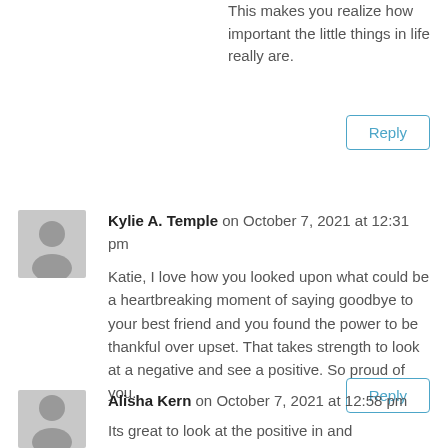This makes you realize how important the little things in life really are.
Reply
Kylie A. Temple on October 7, 2021 at 12:31 pm
Katie, I love how you looked upon what could be a heartbreaking moment of saying goodbye to your best friend and you found the power to be thankful over upset. That takes strength to look at a negative and see a positive. So proud of you.
Reply
Alisha Kern on October 7, 2021 at 12:58 pm
Its great to look at the positive in and